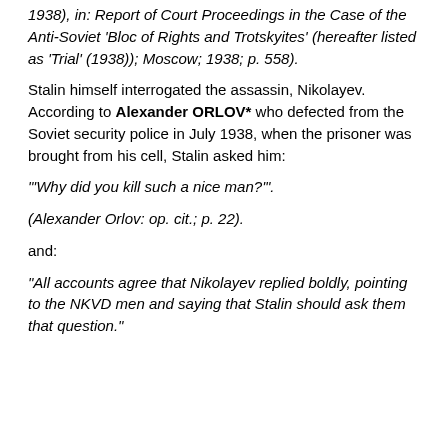1938), in: Report of Court Proceedings in the Case of the Anti-Soviet 'Bloc of Rights and Trotskyites' (hereafter listed as 'Trial' (1938)); Moscow; 1938; p. 558).
Stalin himself interrogated the assassin, Nikolayev. According to Alexander ORLOV* who defected from the Soviet security police in July 1938, when the prisoner was brought from his cell, Stalin asked him:
"'Why did you kill such a nice man?"'.
(Alexander Orlov: op. cit.; p. 22).
and:
"All accounts agree that Nikolayev replied boldly, pointing to the NKVD men and saying that Stalin should ask them that question."